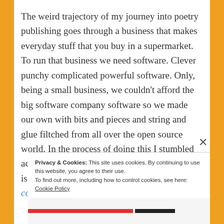The weird trajectory of my journey into poetry publishing goes through a business that makes everyday stuff that you buy in a supermarket. To run that business we need software. Clever punchy complicated powerful software. Only, being a small business, we couldn't afford the big software company software so we made our own with bits and pieces and string and glue filtched from all over the open source world. In the process of doing this I stumbled across clever people like James Governor who is an analyst at Red Monk. He and his colleagues write the kind of
Privacy & Cookies: This site uses cookies. By continuing to use this website, you agree to their use.
To find out more, including how to control cookies, see here: Cookie Policy
Close and accept